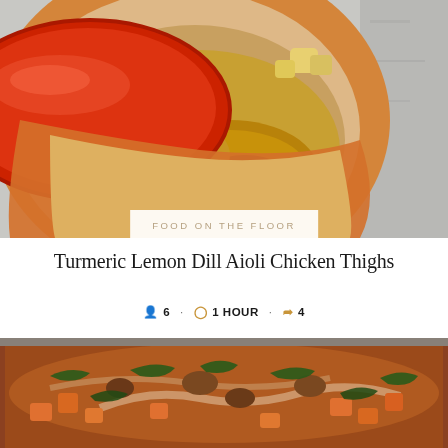[Figure (photo): Overhead view of a red/orange Le Creuset dutch oven with the lid partially open, showing golden-brown braised chicken thighs in a turmeric-yellow sauce with potato chunks, placed on a grey stone surface.]
FOOD ON THE FLOOR
Turmeric Lemon Dill Aioli Chicken Thighs
6 · 1 HOUR · 4
[Figure (photo): Overhead view of a terracotta-colored dutch oven containing a rustic stew with chunks of sweet potato, mushrooms, spinach leaves, and other vegetables in a rich reddish-brown sauce.]